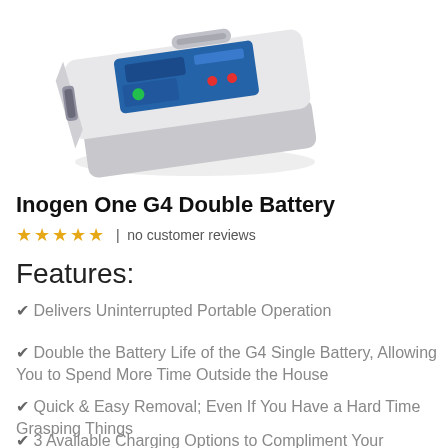[Figure (photo): Photo of Inogen One G4 Double Battery — a white rectangular medical oxygen concentrator device with a blue label/screen on top and a handle, shown at an angle on a white background]
Inogen One G4 Double Battery
★★★★★ | no customer reviews
Features:
✔ Delivers Uninterrupted Portable Operation
✔ Double the Battery Life of the G4 Single Battery, Allowing You to Spend More Time Outside the House
✔ Quick & Easy Removal; Even If You Have a Hard Time Grasping Things
✔ 3 Available Charging Options to Compliment Your Lifestyle